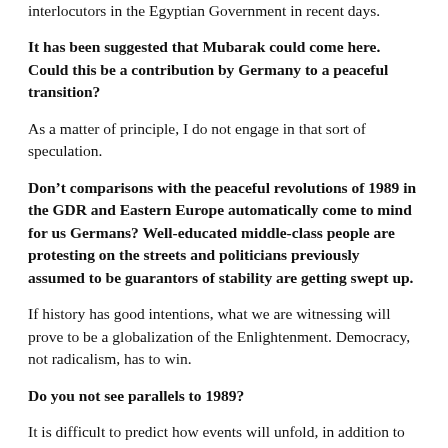interlocutors in the Egyptian Government in recent days.
It has been suggested that Mubarak could come here. Could this be a contribution by Germany to a peaceful transition?
As a matter of principle, I do not engage in that sort of speculation.
Don’t comparisons with the peaceful revolutions of 1989 in the GDR and Eastern Europe automatically come to mind for us Germans? Well-educated middle-class people are protesting on the streets and politicians previously assumed to be guarantors of stability are getting swept up.
If history has good intentions, what we are witnessing will prove to be a globalization of the Enlightenment. Democracy, not radicalism, has to win.
Do you not see parallels to 1989?
It is difficult to predict how events will unfold, in addition to